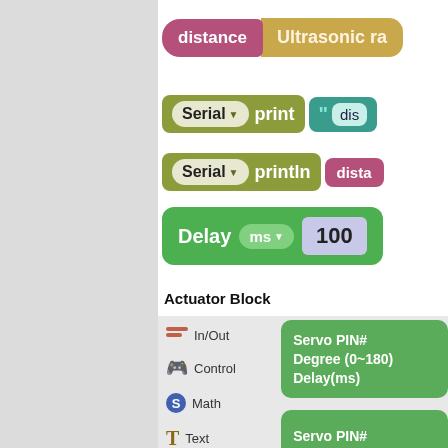[Figure (screenshot): Block-based programming interface showing: a 'distance' variable block connected to 'Ultrasonic r...' sensor block; a 'Serial print' block with a quoted 'dis...' string; a 'Serial println' block with 'dista...' variable; a 'Delay ms 100' block. All colored blocks (purple, tan/olive, teal, green, pink).]
Actuator Block
[Figure (screenshot): Block-based programming interface showing left menu with categories: In/Out, Control, Math, Text, List (partially visible). Right side shows two green Servo blocks: first with PIN#, Degree (0-180), Delay(ms) fields; second showing Servo PIN# with connector.]